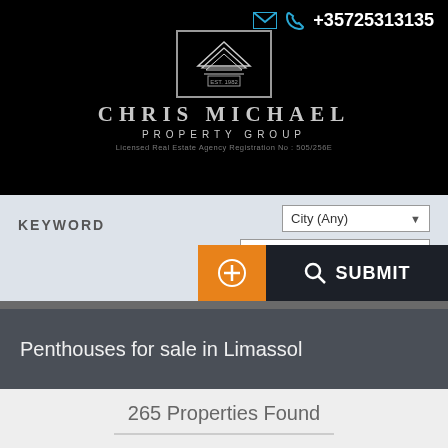+35725313135
[Figure (logo): Chris Michael Property Group logo — triangular building icon with EST. 1982 text, brand name CHRIS MICHAEL PROPERTY GROUP, Licensed Real Estate Agency Registration No: 505/256E]
KEYWORD
City (Any)
Property Type (Any)
SUBMIT
Penthouses for sale in Limassol
265 Properties Found